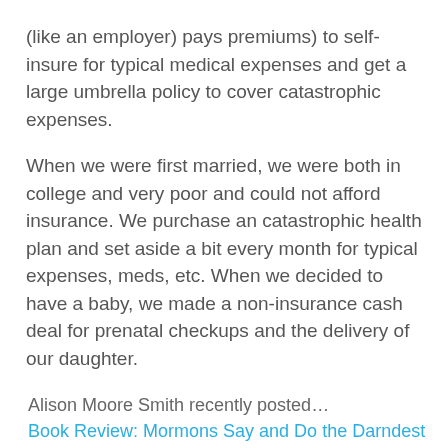(like an employer) pays premiums) to self-insure for typical medical expenses and get a large umbrella policy to cover catastrophic expenses.
When we were first married, we were both in college and very poor and could not afford insurance. We purchase an catastrophic health plan and set aside a bit every month for typical expenses, meds, etc. When we decided to have a baby, we made a non-insurance cash deal for prenatal checkups and the delivery of our daughter.
Alison Moore Smith recently posted… Book Review: Mormons Say and Do the Darndest Things